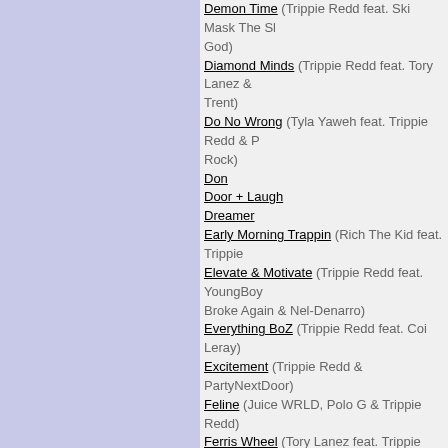Demon Time (Trippie Redd feat. Ski Mask The Slump God)
Diamond Minds (Trippie Redd feat. Tory Lanez & Trent)
Do No Wrong (Tyla Yaweh feat. Trippie Redd & P Rock)
Don
Door + Laugh
Dreamer
Early Morning Trappin (Rich The Kid feat. Trippie
Elevate & Motivate (Trippie Redd feat. YoungBoy Broke Again & Nel-Denarro)
Everything BoZ (Trippie Redd feat. Coi Leray)
Excitement (Trippie Redd & PartyNextDoor)
Feline (Juice WRLD, Polo G & Trippie Redd)
Ferris Wheel (Tory Lanez feat. Trippie Redd)
Finish Line
Fire Starter (Trippie Redd feat. Emani22)
Forever Ever (Trippie Redd feat. Young Thug & R Lafare)
Forever World (Lil Yachty feat. Trippie Redd)
Fuck Love (XXXTentacion feat. Trippie Redd)
Gone Girl (Iann Dior feat. Trippie Redd)
Good Morning
Gore
Growl
Hate Me (Trippie Redd feat. YoungBoy Never Broke Again & Nel-Denarro)
Hell Rain (Trippie Redd feat. Lil Wayne & Hoodyb
Hellboy
Hit Em Hard (Offset, Trippie Redd, Kevin Gates, L & King Von)
Holy Smokes (Trippie Redd feat. Lil Uzi Vert)
How You Feel
I Got You (Trippie Redd feat. Busta Rhymes)
I Tried Loving
I Try
Immortal (Trippie Redd feat. The Game)